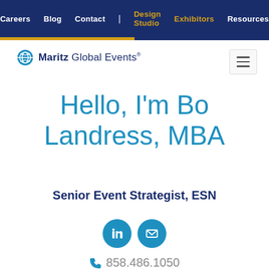Careers  Blog  Contact  |  Design Studio  Exhibitors  Resources
[Figure (logo): Maritz Global Events logo with globe icon]
Hello, I'm Bo Landress, MBA
Senior Event Strategist, ESN
[Figure (infographic): LinkedIn and email social media icons (blue circles)]
858.486.1050